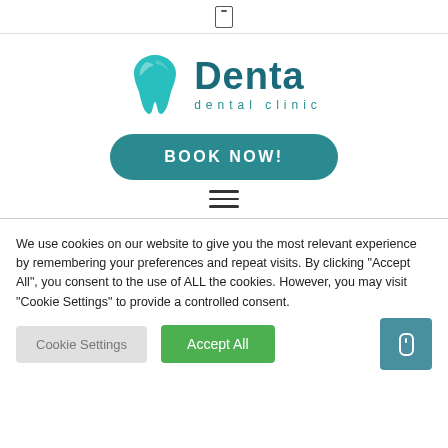☐
[Figure (logo): Denta dental clinic logo with teal tooth icon and teal text]
BOOK NOW!
[Figure (other): Hamburger menu icon with three horizontal lines]
We use cookies on our website to give you the most relevant experience by remembering your preferences and repeat visits. By clicking "Accept All", you consent to the use of ALL the cookies. However, you may visit "Cookie Settings" to provide a controlled consent.
Cookie Settings
Accept All